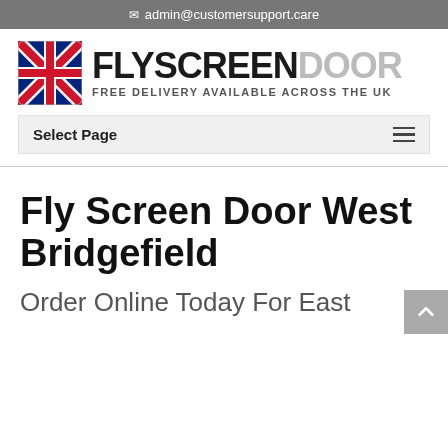admin@customersupport.care
[Figure (logo): FlyScreenDoor logo with UK flag icon and tagline FREE DELIVERY AVAILABLE ACROSS THE UK]
Select Page
Fly Screen Door West Bridgefield
Order Online Today For East